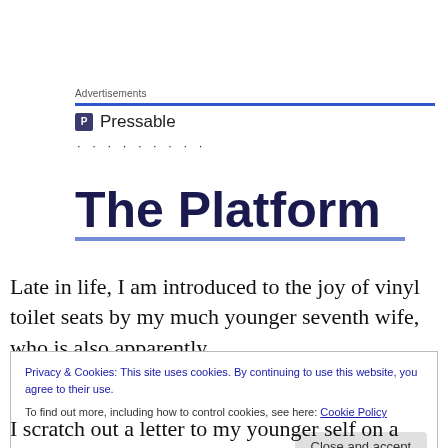Advertisements
[Figure (logo): Pressable logo with blue P icon and dotted line beneath]
The Platform
Late in life, I am introduced to the joy of vinyl toilet seats by my much younger seventh wife, who is also apparently
Privacy & Cookies: This site uses cookies. By continuing to use this website, you agree to their use.
To find out more, including how to control cookies, see here: Cookie Policy
Close and accept
I scratch out a letter to my younger self on a sheet of toilet